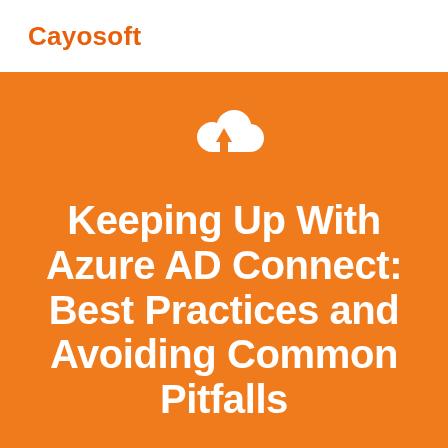Cayosoft
[Figure (illustration): White cloud upload icon with upward arrow on orange background]
Keeping Up With Azure AD Connect: Best Practices and Avoiding Common Pitfalls